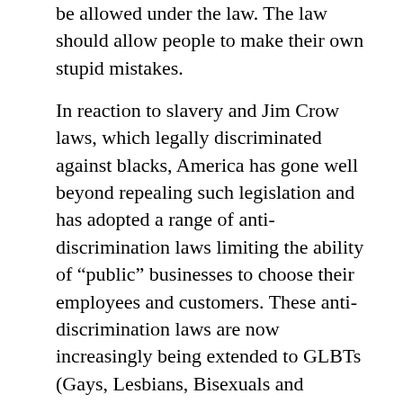be allowed under the law. The law should allow people to make their own stupid mistakes.
In reaction to slavery and Jim Crow laws, which legally discriminated against blacks, America has gone well beyond repealing such legislation and has adopted a range of anti-discrimination laws limiting the ability of “public” businesses to choose their employees and customers. These anti-discrimination laws are now increasingly being extended to GLBTs (Gays, Lesbians, Bisexuals and Transgenders). Personal beliefs and preferences, whether we agree with or respect them or not, thus confront state interference in our personal choices and behavior. Doctors, who do not believe in abortion, are required to perform